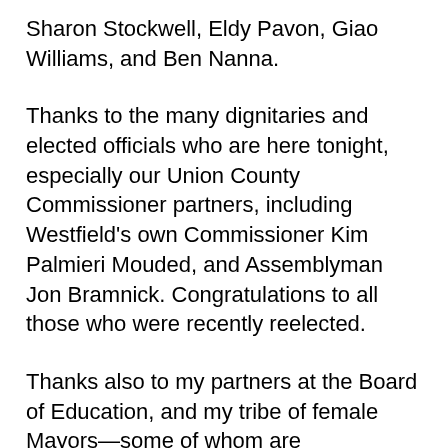Sharon Stockwell, Eldy Pavon, Giao Williams, and Ben Nanna.
Thanks to the many dignitaries and elected officials who are here tonight, especially our Union County Commissioner partners, including Westfield’s own Commissioner Kim Palmieri Mouded, and Assemblyman Jon Bramnick. Congratulations to all those who were recently reelected.
Thanks also to my partners at the Board of Education, and my tribe of female Mayors—some of whom are